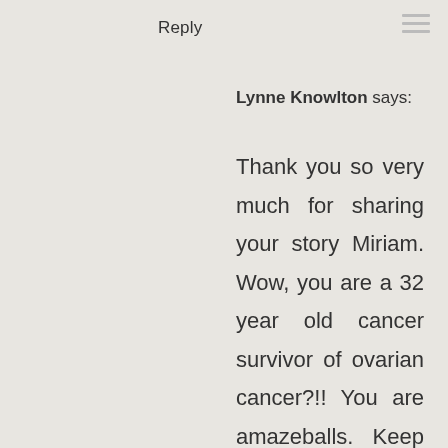Reply
Lynne Knowlton says:
Thank you so very much for sharing your story Miriam. Wow, you are a 32 year old cancer survivor of ovarian cancer?!! You are amazeballs. Keep doing what you are doing, it is working! You sound pretty